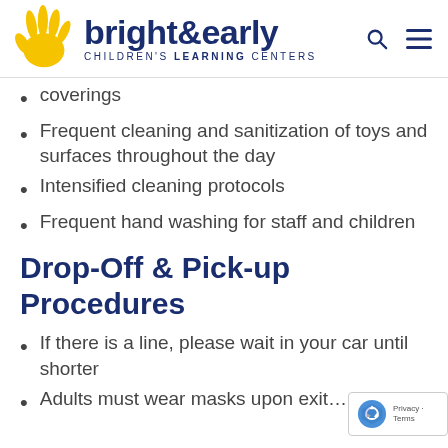[Figure (logo): Bright & Early Children's Learning Centers logo with yellow hand icon and dark blue text]
coverings
Frequent cleaning and sanitization of toys and surfaces throughout the day
Intensified cleaning protocols
Frequent hand washing for staff and children
Drop-Off & Pick-up Procedures
If there is a line, please wait in your car until shorter
Adults must wear masks upon exit…